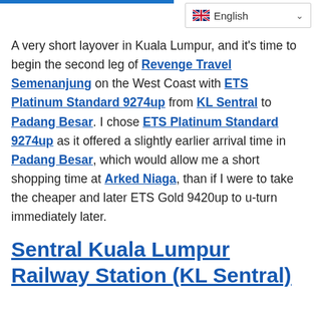A very short layover in Kuala Lumpur, and it's time to begin the second leg of Revenge Travel Semenanjung on the West Coast with ETS Platinum Standard 9274up from KL Sentral to Padang Besar. I chose ETS Platinum Standard 9274up as it offered a slightly earlier arrival time in Padang Besar, which would allow me a short shopping time at Arked Niaga, than if I were to take the cheaper and later ETS Gold 9420up to u-turn immediately later.
Sentral Kuala Lumpur Railway Station (KL Sentral)